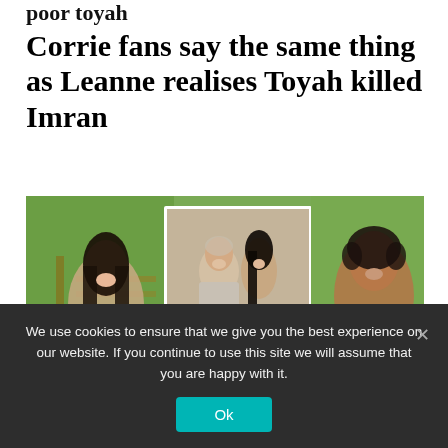poor toyah
Corrie fans say the same thing as Leanne realises Toyah killed Imran
[Figure (photo): Composite photo showing TV soap characters/actors including a young woman with dark hair laughing outdoors, a couple posing together (man in grey polo shirt, woman with dark hair), and a man with dark curly hair smiling outdoors holding a drink.]
We use cookies to ensure that we give you the best experience on our website. If you continue to use this site we will assume that you are happy with it.